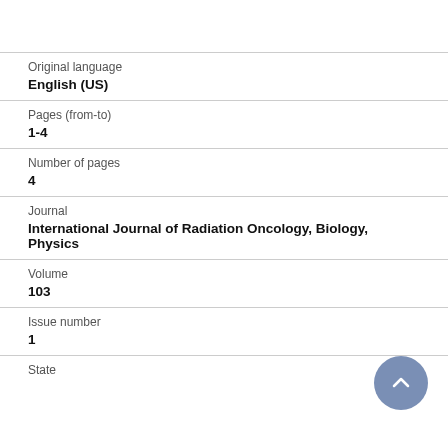Original language
English (US)
Pages (from-to)
1-4
Number of pages
4
Journal
International Journal of Radiation Oncology, Biology, Physics
Volume
103
Issue number
1
State